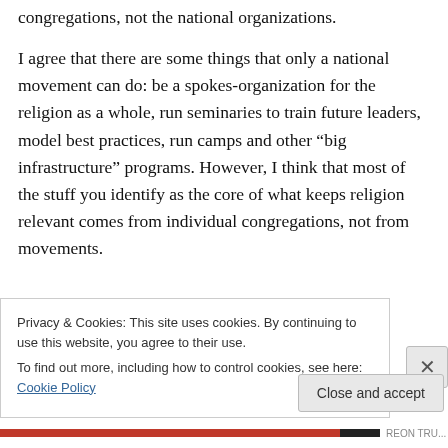congregations, not the national organizations.
I agree that there are some things that only a national movement can do: be a spokes-organization for the religion as a whole, run seminaries to train future leaders, model best practices, run camps and other “big infrastructure” programs. However, I think that most of the stuff you identify as the core of what keeps religion relevant comes from individual congregations, not from movements.
Privacy & Cookies: This site uses cookies. By continuing to use this website, you agree to their use.
To find out more, including how to control cookies, see here: Cookie Policy